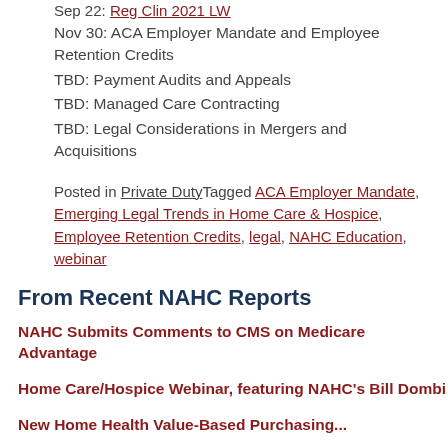Sep 22: Reg Clin 2021 LW (link)
Nov 30: ACA Employer Mandate and Employee Retention Credits
TBD: Payment Audits and Appeals
TBD: Managed Care Contracting
TBD: Legal Considerations in Mergers and Acquisitions
Posted in Private Duty Tagged ACA Employer Mandate, Emerging Legal Trends in Home Care & Hospice, Employee Retention Credits, legal, NAHC Education, webinar
From Recent NAHC Reports
NAHC Submits Comments to CMS on Medicare Advantage
Home Care/Hospice Webinar, featuring NAHC's Bill Dombi
New Home Health Value-Based Purchasing...